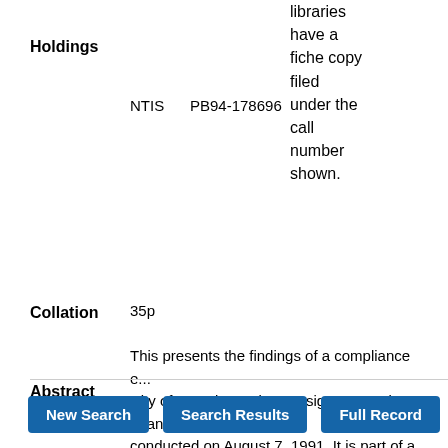Holdings
NTIS   PB94-178696   libraries have a fiche copy filed under the call number shown.
Collation   35p
Abstract   This presents the findings of a compliance e... City of Grand Junction Persigo WWTF in Gran... conducted on August 7, 1991. It is part of a s... municipal POTW dischargers.
New Search | Search Results | Full Record